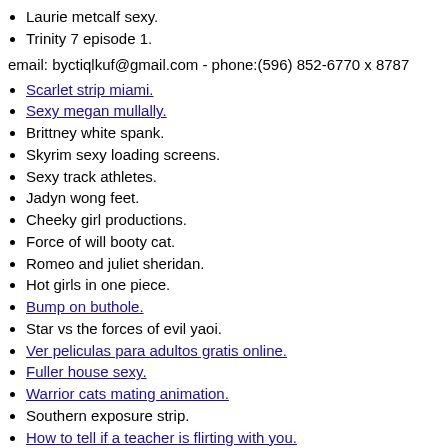Laurie metcalf sexy.
Trinity 7 episode 1.
email: byctiqlkuf@gmail.com - phone:(596) 852-6770 x 8787
Scarlet strip miami.
Sexy megan mullally.
Brittney white spank.
Skyrim sexy loading screens.
Sexy track athletes.
Jadyn wong feet.
Cheeky girl productions.
Force of will booty cat.
Romeo and juliet sheridan.
Hot girls in one piece.
Bump on buthole.
Star vs the forces of evil yaoi.
Ver peliculas para adultos gratis online.
Fuller house sexy.
Warrior cats mating animation.
Southern exposure strip.
How to tell if a teacher is flirting with you.
Burning angel promo code.
Trying on bikinis tumblr.
Event horizon orgy scene.